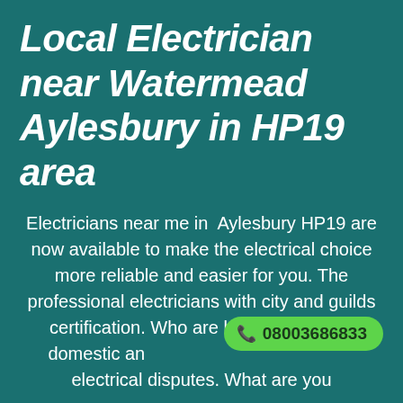Local Electrician near Watermead Aylesbury in HP19 area
Electricians near me in Aylesbury HP19 are now available to make the electrical choice more reliable and easier for you. The professional electricians with city and guilds certification. Who are best in resolving domestic and electrical disputes. What are you